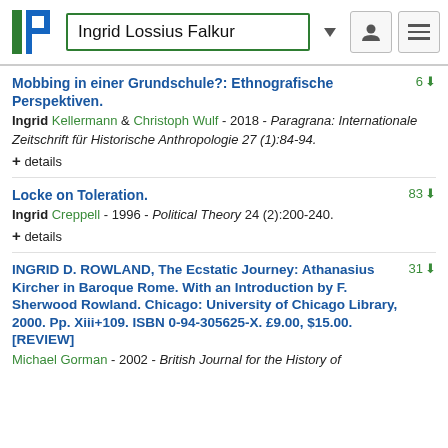Ingrid Lossius Falkur
Mobbing in einer Grundschule?: Ethnografische Perspektiven.
Ingrid Kellermann & Christoph Wulf - 2018 - Paragrana: Internationale Zeitschrift für Historische Anthropologie 27 (1):84-94.
+ details
Locke on Toleration.
Ingrid Creppell - 1996 - Political Theory 24 (2):200-240.
+ details
INGRID D. ROWLAND, The Ecstatic Journey: Athanasius Kircher in Baroque Rome. With an Introduction by F. Sherwood Rowland. Chicago: University of Chicago Library, 2000. Pp. Xiii+109. ISBN 0-94-305625-X. £9.00, $15.00. [REVIEW]
Michael Gorman - 2002 - British Journal for the History of